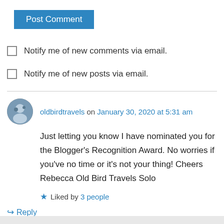[Figure (other): Blue 'Post Comment' button]
Notify me of new comments via email.
Notify me of new posts via email.
oldbirdtravels on January 30, 2020 at 5:31 am
Just letting you know I have nominated you for the Blogger's Recognition Award. No worries if you've no time or it's not your thing! Cheers Rebecca Old Bird Travels Solo
Liked by 3 people
Reply